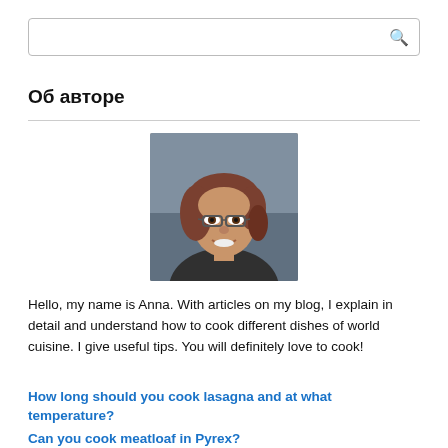[Figure (other): Search bar with magnifying glass icon]
Об авторе
[Figure (photo): Portrait photo of a woman with brown hair, glasses, and a smile, wearing dark clothing, photographed outdoors near water]
Hello, my name is Anna. With articles on my blog, I explain in detail and understand how to cook different dishes of world cuisine. I give useful tips. You will definitely love to cook!
How long should you cook lasagna and at what temperature?
Can you cook meatloaf in Pyrex?